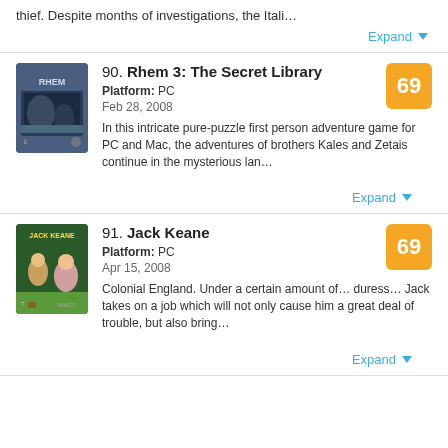thief. Despite months of investigations, the Itali…
Expand
90. Rhem 3: The Secret Library
Platform: PC
Feb 28, 2008
In this intricate pure-puzzle first person adventure game for PC and Mac, the adventures of brothers Kales and Zetais continue in the mysterious lan…
Expand
91. Jack Keane
Platform: PC
Apr 15, 2008
Colonial England. Under a certain amount of… duress… Jack takes on a job which will not only cause him a great deal of trouble, but also bring…
Expand